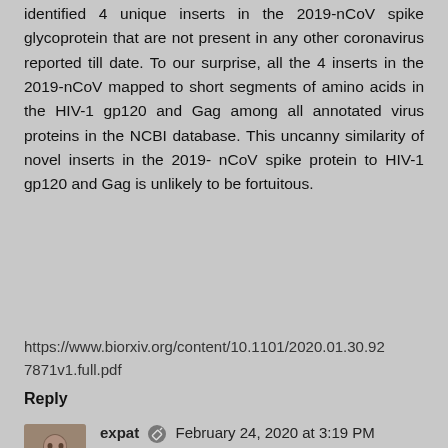identified 4 unique inserts in the 2019-nCoV spike glycoprotein that are not present in any other coronavirus reported till date. To our surprise, all the 4 inserts in the 2019-nCoV mapped to short segments of amino acids in the HIV-1 gp120 and Gag among all annotated virus proteins in the NCBI database. This uncanny similarity of novel inserts in the 2019- nCoV spike protein to HIV-1 gp120 and Gag is unlikely to be fortuitous.
https://www.biorxiv.org/content/10.1101/2020.01.30.927871v1.full.pdf
Reply
expat  February 24, 2020 at 3:19 PM
Nice to see Indian microbiologists prominent in this field of study. If you're thinking that this is support for your mistaken idea that a coronavirus splices into the DNA, think again Theadora. Spike glycoprotein refers to a particular site on the viral envelope that enables it